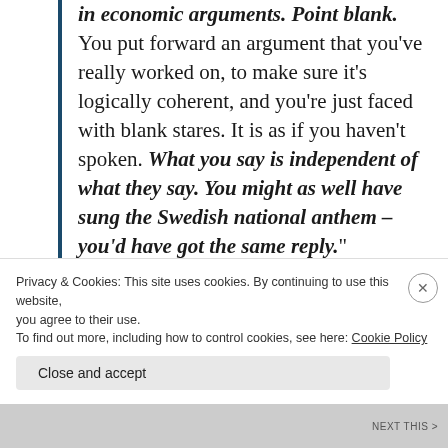in economic arguments. Point blank. You put forward an argument that you've really worked on, to make sure it's logically coherent, and you're just faced with blank stares. It is as if you haven't spoken. What you say is independent of what they say. You might as well have sung the Swedish national anthem – you'd have got the same reply."
Privacy & Cookies: This site uses cookies. By continuing to use this website, you agree to their use. To find out more, including how to control cookies, see here: Cookie Policy